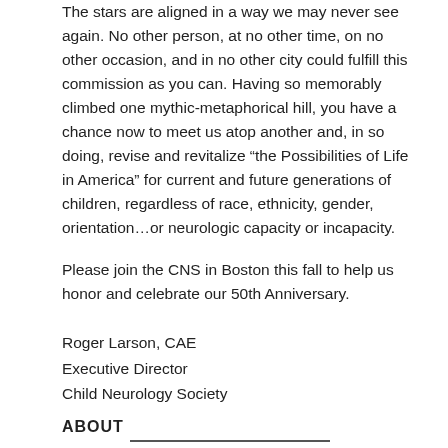The stars are aligned in a way we may never see again. No other person, at no other time, on no other occasion, and in no other city could fulfill this commission as you can. Having so memorably climbed one mythic-metaphorical hill, you have a chance now to meet us atop another and, in so doing, revise and revitalize “the Possibilities of Life in America” for current and future generations of children, regardless of race, ethnicity, gender, orientation…or neurologic capacity or incapacity.
Please join the CNS in Boston this fall to help us honor and celebrate our 50th Anniversary.
Roger Larson, CAE
Executive Director
Child Neurology Society
ABOUT